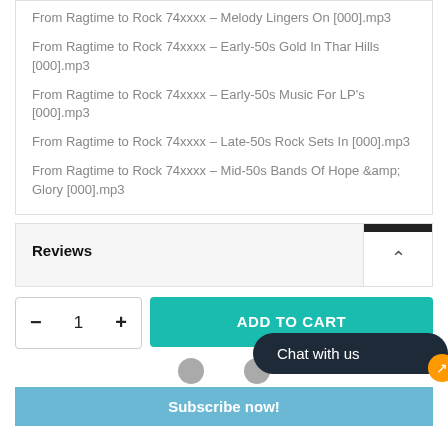From Ragtime to Rock 74xxxx – Melody Lingers On [000].mp3
From Ragtime to Rock 74xxxx – Early-50s Gold In Thar Hills [000].mp3
From Ragtime to Rock 74xxxx – Early-50s Music For LP's [000].mp3
From Ragtime to Rock 74xxxx – Late-50s Rock Sets In [000].mp3
From Ragtime to Rock 74xxxx – Mid-50s Bands Of Hope &amp; Glory [000].mp3
Reviews
ADD TO CART
Chat with us
Subscribe now!